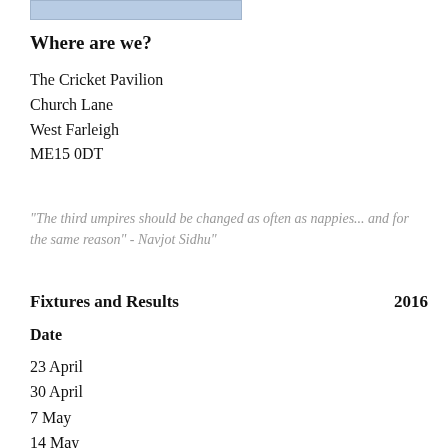[Figure (other): Light blue shaded rectangle bar at top of page]
Where are we?
The Cricket Pavilion
Church Lane
West Farleigh
ME15 0DT
"The third umpires should be changed as often as nappies... and for the same reason" - Navjot Sidhu"
Fixtures and Results    2016
Date
23 April
30 April
7 May
14 May
21 May
28 May
4 June